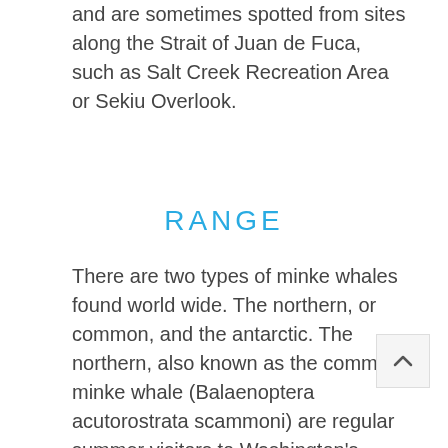and are sometimes spotted from sites along the Strait of Juan de Fuca, such as Salt Creek Recreation Area or Sekiu Overlook.
RANGE
There are two types of minke whales found world wide. The northern, or common, and the antarctic. The northern, also known as the common minke whale (Balaenoptera acutorostrata scammoni) are regular summer visitors to Washington's inland waters. The northern minke whales found in Alaskan waters are migratory, but the minke whales found in the inland waters of Washington/Oregon/California are considered